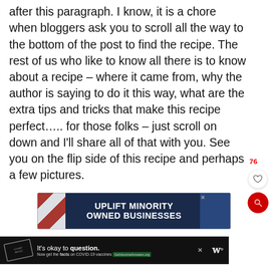after this paragraph. I know, it is a chore when bloggers ask you to scroll all the way to the bottom of the post to find the recipe. The rest of us who like to know all there is to know about a recipe – where it came from, why the author is saying to do it this way, what are the extra tips and tricks that make this recipe perfect….. for those folks – just scroll on down and I'll share all of that with you. See you on the flip side of this recipe and perhaps a few pictures.
[Figure (infographic): Advertisement banner: 'UPLIFT MINORITY OWNED BUSINESSES' on dark blue background with illustrated street scene]
[Figure (infographic): Advertisement banner: 'It's okay to question. Now get the facts on COVID-19 vaccines GetVaccineAnswers.org' on black background]